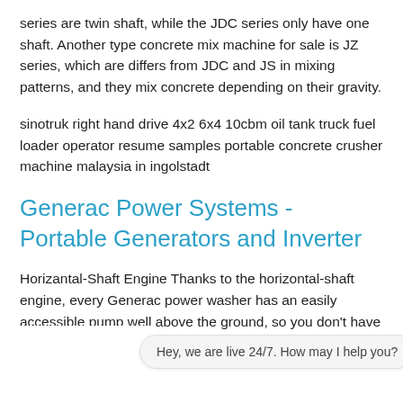series are twin shaft, while the JDC series only have one shaft. Another type concrete mix machine for sale is JZ series, which are differs from JDC and JS in mixing patterns, and they mix concrete depending on their gravity.
sinotruk right hand drive 4x2 6x4 10cbm oil tank truck fuel loader operator resume samples portable concrete crusher machine malaysia in ingolstadt
Generac Power Systems - Portable Generators and Inverter
Horizantal-Shaft Engine Thanks to the horizontal-shaft engine, every Generac power washer has an easily accessible pump well above the ground, so you don't have to kneel down to make hose connections. It also allows for an easy set up.
Electric Cen... n Tool